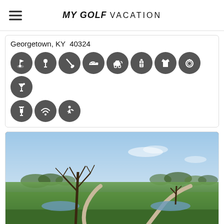MY GOLF VACATION
Georgetown, KY  40324
[Figure (infographic): Row of circular dark grey icons representing golf course amenities: golf flag, tee, golf club/swing, golf shoe, golf cart, golf bag, polo shirt, plate/dining, cocktail glass, drink/bar, wifi, golfer silhouette]
[Figure (photo): Outdoor photo of a golf course fairway with a winding cart path, trees without leaves suggesting early spring, green grass, water hazard/pond visible, blue sky with light clouds]